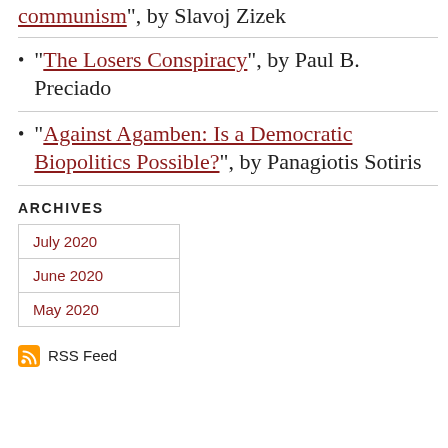"communism", by Slavoj Zizek
"The Losers Conspiracy", by Paul B. Preciado
"Against Agamben: Is a Democratic Biopolitics Possible?", by Panagiotis Sotiris
ARCHIVES
July 2020
June 2020
May 2020
RSS Feed